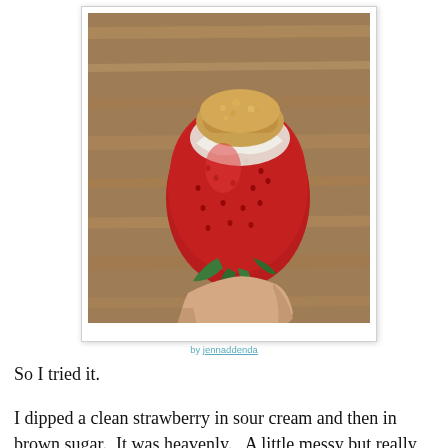[Figure (photo): A hand holding a large red strawberry dipped in sour cream and coated with brown sugar on top, photographed against a wooden surface background.]
by jennaddenda
So I tried it.
I dipped a clean strawberry in sour cream and then in brown sugar.  It was heavenly.   A little messy but really wonderful.
Recently I was in charge of the food for a meeting of a